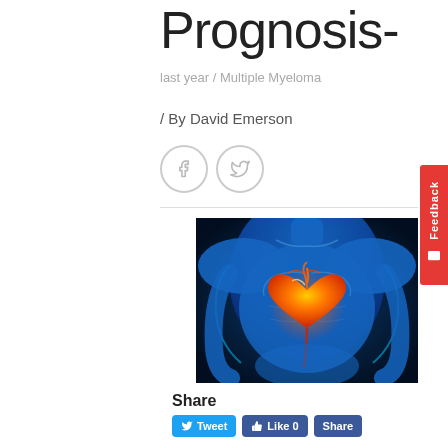Prognosis-
last year / Multiple Myeloma
/ By David Emerson
[Figure (illustration): Medical illustration of a human torso with a glowing orange/red heart highlighted against a blue anatomical body background, showing cardiovascular anatomy.]
Share
Tweet  Like 0  Share